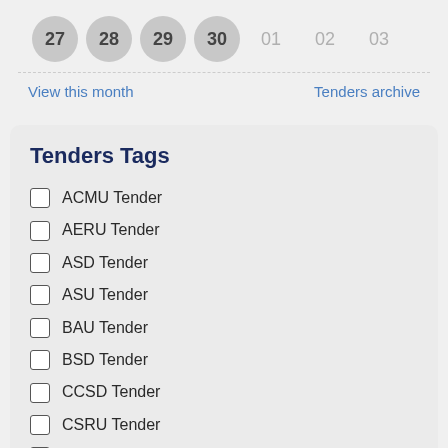[Figure (other): Calendar row showing days 27, 28, 29, 30 as filled grey circles and 01, 02, 03 as plain grey numbers]
View this month
Tenders archive
Tenders Tags
ACMU Tender
AERU Tender
ASD Tender
ASU Tender
BAU Tender
BSD Tender
CCSD Tender
CSRU Tender
CSSC Tender
CVPRU Tender